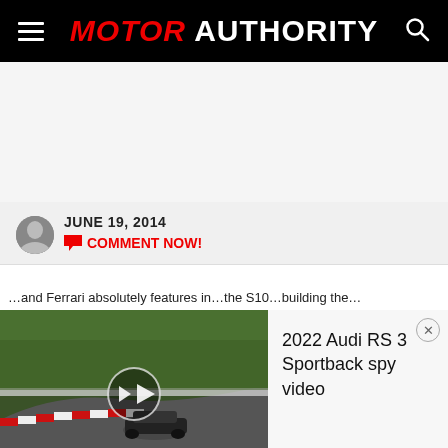MOTOR AUTHORITY
JUNE 19, 2014
COMMENT NOW!
[Figure (screenshot): Video thumbnail showing a car on a racetrack (Nürburgring) with a play button overlay]
2022 Audi RS 3 Sportback spy video